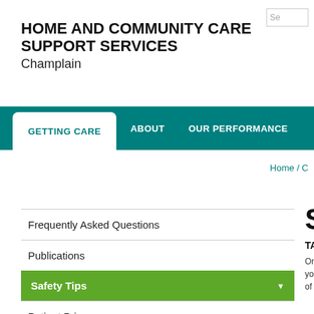HOME AND COMMUNITY CARE SUPPORT SERVICES Champlain
GETTING CARE | ABOUT | OUR PERFORMANCE
Home / C
Frequently Asked Questions
Publications
Safety Tips
Patient Privacy
Patient Bill of Rights
Saf
TAKING
One of th you and/ of health